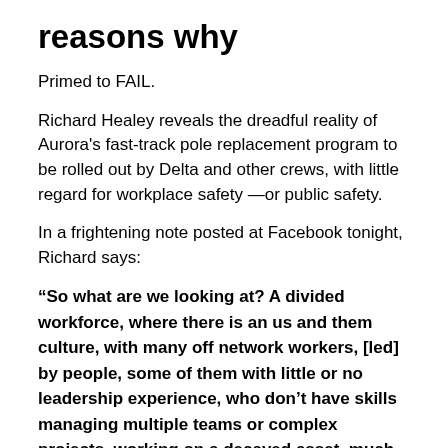reasons why
Primed to FAIL.
Richard Healey reveals the dreadful reality of Aurora's fast-track pole replacement program to be rolled out by Delta and other crews, with little regard for workplace safety —or public safety.
In a frightening note posted at Facebook tonight, Richard says:
“So what are we looking at? A divided workforce, where there is an us and them culture, with many off network workers, [led] by people, some of them with little or no leadership experience, who don’t have skills managing multiple teams or complex projects, working on a decayed asset, much of which has been